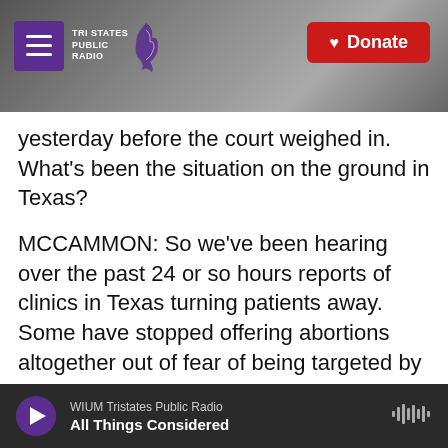[Figure (screenshot): Screenshot of Tri States Public Radio website header with hamburger menu button (purple), logo, and red Donate button. Dark grayscale photo background showing a radio tower.]
yesterday before the court weighed in. What's been the situation on the ground in Texas?
MCCAMMON: So we've been hearing over the past 24 or so hours reports of clinics in Texas turning patients away. Some have stopped offering abortions altogether out of fear of being targeted by the lawsuits that are allowed by this law. And all of them have been forced, at minimum, to dramatically scale back their abortion services. As a result, Rachel, some women will likely travel out of state to get abortions if they're able to. I spoke with several groups in Texas that help provide
WIUM Tristates Public Radio
All Things Considered